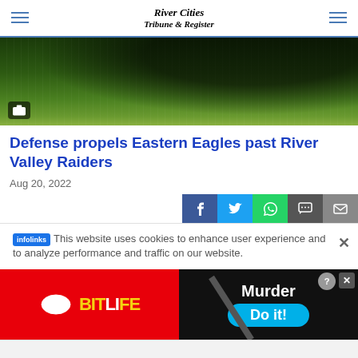River Cities Tribune & Register
[Figure (photo): Outdoor sports photo on grass field, dark figure at top, white yard line visible]
Defense propels Eastern Eagles past River Valley Raiders
Aug 20, 2022
[Figure (other): Social media share buttons: Facebook, Twitter, WhatsApp, Message, Email]
This website uses cookies to enhance user experience and to analyze performance and traffic on our website.
[Figure (other): Advertisement banner: BitLife game ad on left (red background, yellow logo), Murder Do it! ad on right (black background with cyan button)]